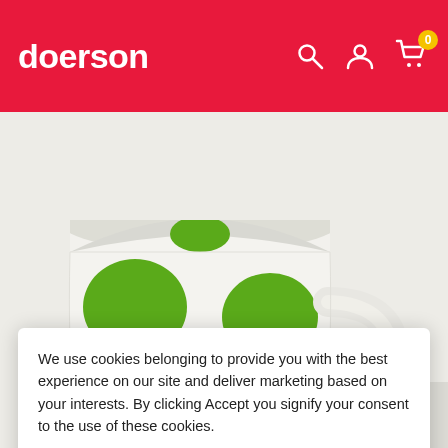doerson
[Figure (photo): A white ceramic mug with large green polka dots, shown from a slight angle with the handle visible on the right side. The mug has a rounded egg-like shape. Part of a second mug or product is visible in the lower right corner.]
We use cookies belonging to provide you with the best experience on our site and deliver marketing based on your interests. By clicking Accept you signify your consent to the use of these cookies.
Accept